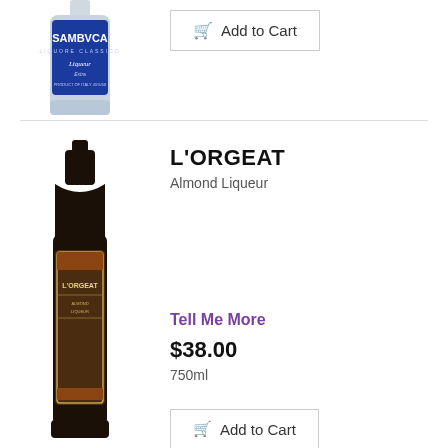[Figure (photo): Partially visible bottle of Sambuca Liquore Classico with blue label]
Add to Cart
[Figure (photo): Dark glass bottle of L'Orgeat Almond Liqueur with ornate brown label]
L'ORGEAT
Almond Liqueur
Tell Me More
$38.00
750ml
Add to Cart